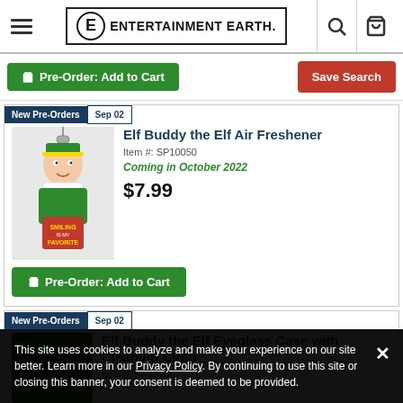Entertainment Earth - navigation header with hamburger menu, logo, search and cart icons
Pre-Order: Add to Cart | Save Search
New Pre-Orders Sep 02
Elf Buddy the Elf Air Freshener
Item #: SP10050
Coming in October 2022
$7.99
Pre-Order: Add to Cart
New Pre-Orders Sep 02
Elf Buddy the Elf Eyeglass Case with Cleaning Cloth
Item #: SP13780
This site uses cookies to analyze and make your experience on our site better. Learn more in our Privacy Policy. By continuing to use this site or closing this banner, your consent is deemed to be provided.